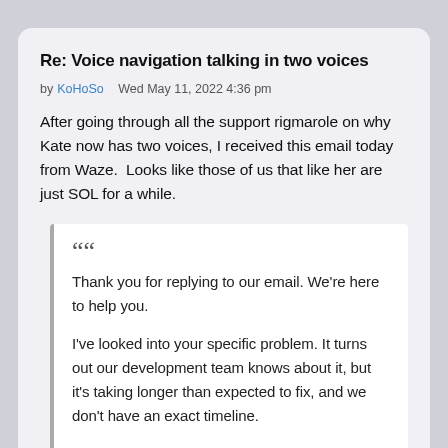Re: Voice navigation talking in two voices
by KoHoSo   Wed May 11, 2022 4:36 pm
After going through all the support rigmarole on why Kate now has two voices, I received this email today from Waze.  Looks like those of us that like her are just SOL for a while.
Thank you for replying to our email. We're here to help you.

I've looked into your specific problem. It turns out our development team knows about it, but it's taking longer than expected to fix, and we don't have an exact timeline.